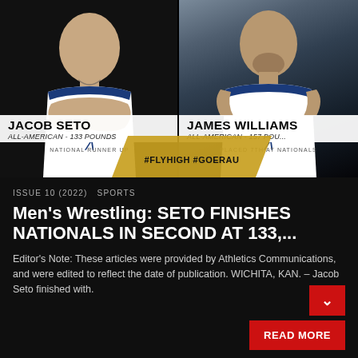[Figure (photo): Two male wrestlers in white and blue Under Armour singlets. Left: Jacob Seto, All-American 133 Pounds, National Runner Up. Right: James Williams, All-American 157 Pounds, Placed 7th at Nationals. Overlay text: #FLYHIGH #GOERAU]
ISSUE 10 (2022)  SPORTS
Men's Wrestling: SETO FINISHES NATIONALS IN SECOND AT 133,...
Editor's Note: These articles were provided by Athletics Communications, and were edited to reflect the date of publication. WICHITA, KAN. – Jacob Seto finished with.